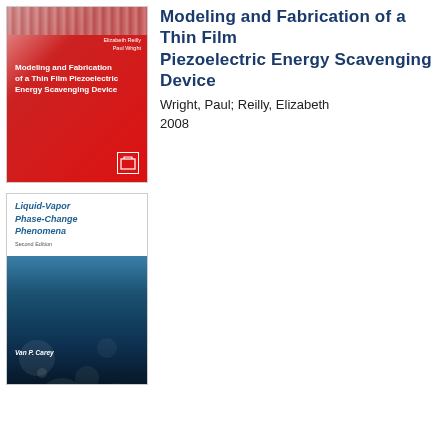[Figure (illustration): Book cover: Modeling and Fabrication of a Thin Film Piezoelectric Energy Scavenging Device. Red cover with authors Elizabeth Reilly and Paul Wright listed at top right, title in white bold text on red background, small publisher logo at bottom right, pink textured strip at top.]
Modeling and Fabrication of a Thin Film Piezoelectric Energy Scavenging Device
Wright, Paul; Reilly, Elizabeth
2008
[Figure (illustration): Book cover: Liquid-Vapor Phase-Change Phenomena, Second Edition. White top area with teal/blue italic title and Second Edition text. Bottom portion shows underwater/liquid photography in dark blue tones with bubbles. Author name Van P. Carey in white italic text at lower left.]